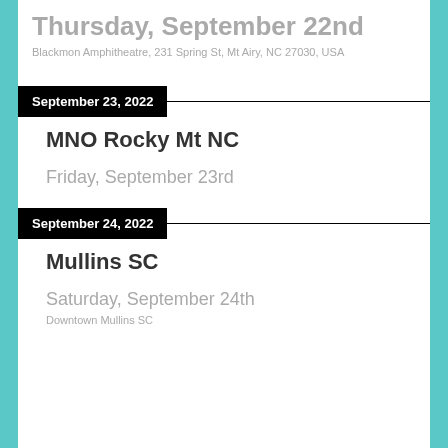Thursday, September 22nd
Blackmon Amphitheatre, 231 Spring St, Mt Airy, NC 27030, USA
September 23, 2022
MNO Rocky Mt NC
Friday, September 23rd
September 24, 2022
Mullins SC
Saturday, September 24th
Downtown Mullins SC